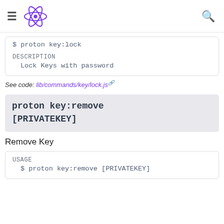React logo navigation header with hamburger menu and search icon
$ proton key:lock
DESCRIPTION
  Lock Keys with password
See code: lib/commands/key/lock.js
proton key:remove [PRIVATEKEY]
Remove Key
USAGE
  $ proton key:remove [PRIVATEKEY]